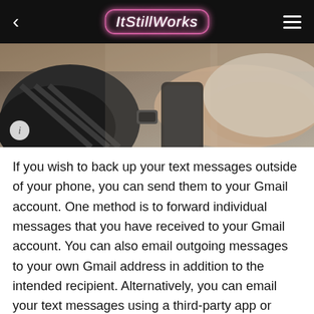ItStillWorks
[Figure (photo): Person holding a smartphone, viewed from above/side angle]
If you wish to back up your text messages outside of your phone, you can send them to your Gmail account. One method is to forward individual messages that you have received to your Gmail account. You can also email outgoing messages to your own Gmail address in addition to the intended recipient. Alternatively, you can email your text messages using a third-party app or through a Google Voice number.